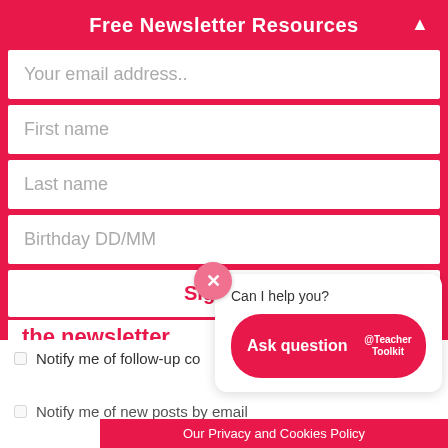Free Newsletter Resources
Your email address..
First name
Last name
Birthday DD/MM
Sign up!
the newsletter
Can I help you?
Ask question
@Teacher Toolkit
Notify me of follow-up co
Notify me of new posts by email
Our Privacy and Cookies Policy